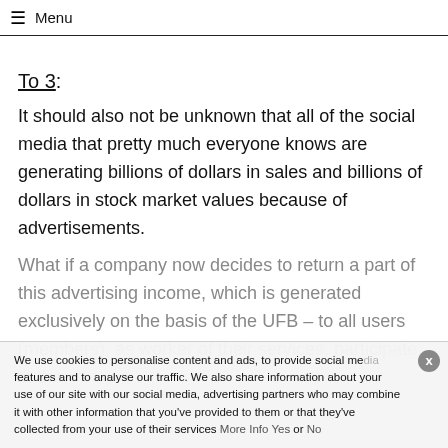≡ Menu
To 3:
It should also not be unknown that all of the social media that pretty much everyone knows are generating billions of dollars in sales and billions of dollars in stock market values because of advertisements.
What if a company now decides to return a part of this advertising income, which is generated exclusively on the basis of the UFB – to all users (members), as worker of their services, participate in the
We use cookies to personalise content and ads, to provide social media features and to analyse our traffic. We also share information about your use of our site with our social media, advertising partners who may combine it with other information that you've provided to them or that they've collected from your use of their services More Info Yes or No